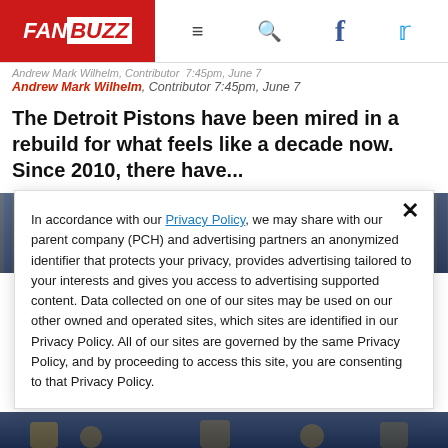FANBUZZ navigation header with logo, hamburger menu, search, Facebook, and Twitter icons
Andrew Mark Wilhelm, Contributor 7:45pm, June 7
The Detroit Pistons have been mired in a rebuild for what feels like a decade now. Since 2010, there have...
[Figure (photo): Two side-by-side basketball action photos showing players in yellow jerseys in an arena setting]
In accordance with our Privacy Policy, we may share with our parent company (PCH) and advertising partners an anonymized identifier that protects your privacy, provides advertising tailored to your interests and gives you access to advertising supported content. Data collected on one of our sites may be used on our other owned and operated sites, which sites are identified in our Privacy Policy. All of our sites are governed by the same Privacy Policy, and by proceeding to access this site, you are consenting to that Privacy Policy.